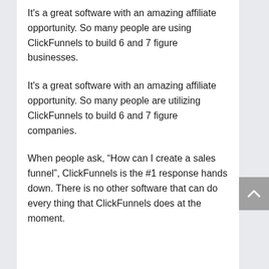It's a great software with an amazing affiliate opportunity. So many people are using ClickFunnels to build 6 and 7 figure businesses.
It's a great software with an amazing affiliate opportunity. So many people are utilizing ClickFunnels to build 6 and 7 figure companies.
When people ask, “How can I create a sales funnel”, ClickFunnels is the #1 response hands down. There is no other software that can do every thing that ClickFunnels does at the moment.
What else is ClickFunnels used for?
Besides creating standard sales funnels, there are plenty of ways marketers are using ClickFunnels